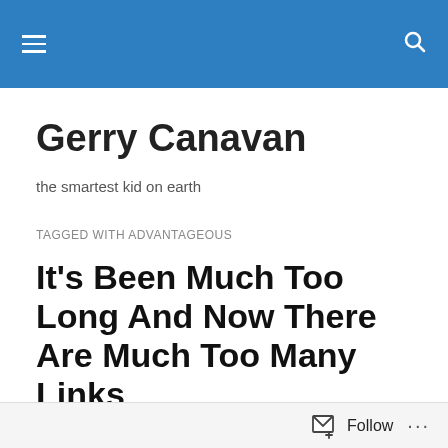Gerry Canavan — navigation header with hamburger menu and search icon
Gerry Canavan
the smartest kid on earth
TAGGED WITH ADVANTAGEOUS
It’s Been Much Too Long And Now There Are Much Too Many Links
* Job ad (probably best for Midwest-located scholars): Visiting Assistant Professor of English (3
Follow …